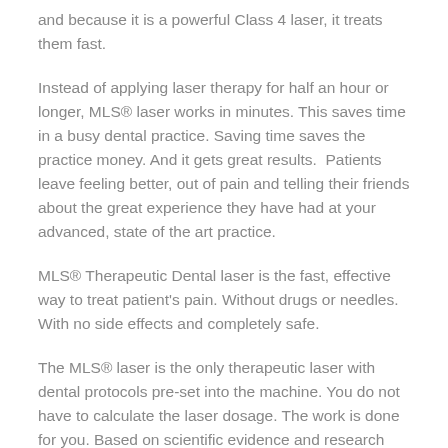and because it is a powerful Class 4 laser, it treats them fast.
Instead of applying laser therapy for half an hour or longer, MLS® laser works in minutes. This saves time in a busy dental practice. Saving time saves the practice money. And it gets great results.  Patients leave feeling better, out of pain and telling their friends about the great experience they have had at your advanced, state of the art practice.
MLS® Therapeutic Dental laser is the fast, effective way to treat patient's pain. Without drugs or needles. With no side effects and completely safe.
The MLS® laser is the only therapeutic laser with dental protocols pre-set into the machine. You do not have to calculate the laser dosage. The work is done for you. Based on scientific evidence and research the protocols precisely match the pathology.